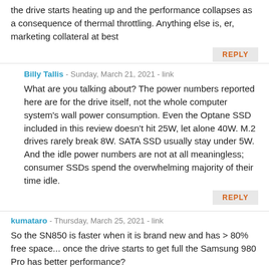the drive starts heating up and the performance collapses as a consequence of thermal throttling. Anything else is, er, marketing collateral at best
REPLY
Billy Tallis - Sunday, March 21, 2021 - link
What are you talking about? The power numbers reported here are for the drive itself, not the whole computer system's wall power consumption. Even the Optane SSD included in this review doesn't hit 25W, let alone 40W. M.2 drives rarely break 8W. SATA SSD usually stay under 5W. And the idle power numbers are not at all meaningless; consumer SSDs spend the overwhelming majority of their time idle.
REPLY
kumataro - Thursday, March 25, 2021 - link
So the SN850 is faster when it is brand new and has > 80% free space... once the drive starts to get full the Samsung 980 Pro has better performance?
REPLY
529th - Sunday, April 11, 2021 - link
Just picked up a SN850, and the model number is WDBAPY0010BNC, however it was advertised as the model in this